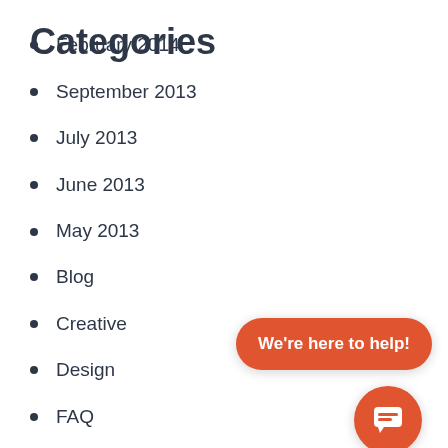February 2014
September 2013
July 2013
June 2013
May 2013
Categories
Blog
Creative
Design
FAQ
News
Projects
Uncategorized